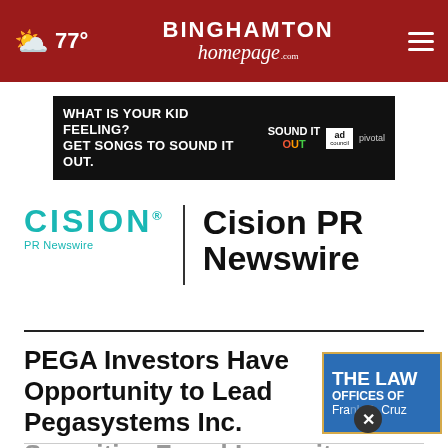77° | BINGHAMTON homepage.com
[Figure (screenshot): Advertisement banner: 'WHAT IS YOUR KID FEELING? GET SONGS TO SOUND IT OUT.' with Sound It Out, Ad Council, and Pivotal logos on black background]
[Figure (logo): Cision PR Newswire logo with teal CISION wordmark and PR Newswire subtitle, vertical divider, and bold 'Cision PR Newswire' text]
PEGA Investors Have Opportunity to Lead Pegasystems Inc. Securities Fraud Lawsuit
[Figure (screenshot): The Law Offices of Frank R. Cruz advertisement in blue with gold border, with a close (X) button overlay]